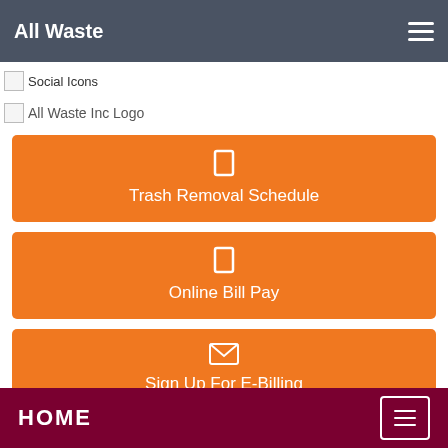All Waste
[Figure (screenshot): Social Icons broken image placeholder with label 'Social Icons']
[Figure (logo): All Waste Inc Logo broken image placeholder with label 'All Waste Inc Logo']
[Figure (screenshot): Orange button with box icon and text 'Trash Removal Schedule']
[Figure (screenshot): Orange button with box icon and text 'Online Bill Pay']
[Figure (screenshot): Orange button with envelope icon and text 'Sign Up For E-Billing']
HOME